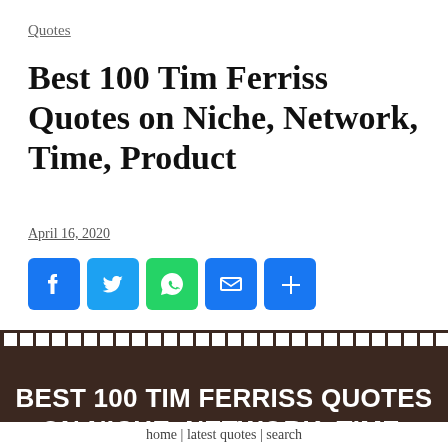Quotes
Best 100 Tim Ferriss Quotes on Niche, Network, Time, Product
April 16, 2020
[Figure (infographic): Social media sharing buttons: Facebook, Twitter, WhatsApp, Email, and More (+)]
[Figure (infographic): Dark brown banner image with white bold text reading: BEST 100 TIM FERRISS QUOTES ON NICHE, NETWORK, TIME, PRODUCT (partially visible), with a dashed white border at the top]
home | latest quotes | search